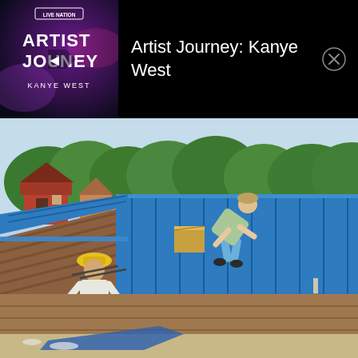[Figure (logo): Live Nation 'Artist Journey: Kanye West' album art on dark purple/navy background with stylized white text ARTIST JOURNEY and KANYE WEST]
Artist Journey: Kanye West
[Figure (photo): Outdoor photo of workers installing blue metal roofing panels on a building. Two workers visible: one bending over on the blue metal roof in the background, another standing at lower level wearing a yellow hat. Red brick buildings and green trees visible in background.]